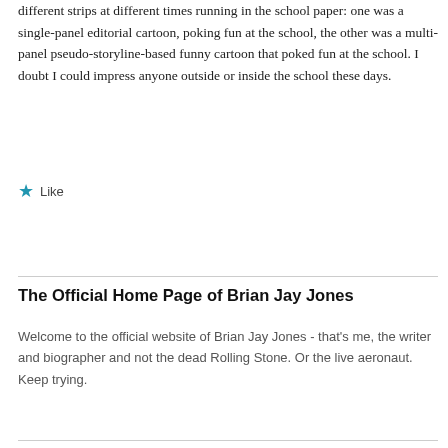different strips at different times running in the school paper: one was a single-panel editorial cartoon, poking fun at the school, the other was a multi-panel pseudo-storyline-based funny cartoon that poked fun at the school. I doubt I could impress anyone outside or inside the school these days.
★ Like
The Official Home Page of Brian Jay Jones
Welcome to the official website of Brian Jay Jones - that's me, the writer and biographer and not the dead Rolling Stone. Or the live aeronaut. Keep trying.